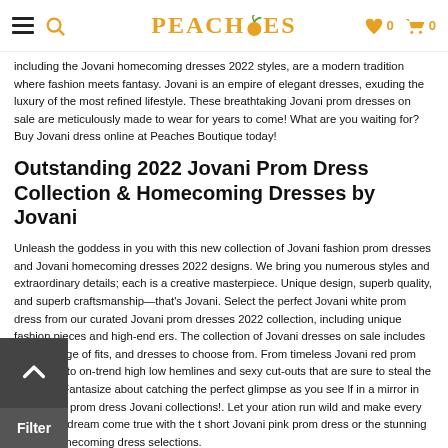PEACHES — navigation header with hamburger menu, search, logo, wishlist (0), and cart (0)
including the Jovani homecoming dresses 2022 styles, are a modern tradition where fashion meets fantasy. Jovani is an empire of elegant dresses, exuding the luxury of the most refined lifestyle. These breathtaking Jovani prom dresses on sale are meticulously made to wear for years to come! What are you waiting for? Buy Jovani dress online at Peaches Boutique today!
Outstanding 2022 Jovani Prom Dress Collection & Homecoming Dresses by Jovani
Unleash the goddess in you with this new collection of Jovani fashion prom dresses and Jovani homecoming dresses 2022 designs. We bring you numerous styles and extraordinary details; each is a creative masterpiece. Unique design, superb quality, and superb craftsmanship—that's Jovani. Select the perfect Jovani white prom dress from our curated Jovani prom dresses 2022 collection, including unique fashion pieces and high-end ers. The collection of Jovani dresses on sale includes a wide range of fits, and dresses to choose from. From timeless Jovani red prom dress ette to on-trend high low hemlines and sexy cut-outs that are sure to steal the spotlight. Fantasize about catching the perfect glimpse as you see lf in a mirror in an elegant prom dress Jovani collections!. Let your ation run wild and make every moment a dream come true with the t short Jovani pink prom dress or the stunning Jovani homecoming dress selections.
Buy Jovani Dresses Online with Confid